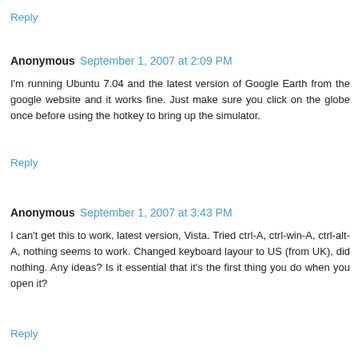Reply
Anonymous  September 1, 2007 at 2:09 PM
I'm running Ubuntu 7.04 and the latest version of Google Earth from the google website and it works fine. Just make sure you click on the globe once before using the hotkey to bring up the simulator.
Reply
Anonymous  September 1, 2007 at 3:43 PM
I can't get this to work, latest version, Vista. Tried ctrl-A, ctrl-win-A, ctrl-alt-A, nothing seems to work. Changed keyboard layour to US (from UK), did nothing. Any ideas? Is it essential that it's the first thing you do when you open it?
Reply